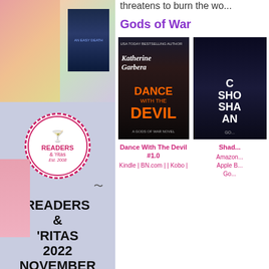[Figure (photo): Left column banner ad for Readers and Ritas 2022 event with badge logo, event text, and book covers/food in background]
[Figure (photo): Book cover: Dance With The Devil by Katherine Garbera, a Gods of War novel]
[Figure (photo): Partially visible book cover on right side]
threatens to burn the wo...
Gods of War
Dance With The Devil #1.0
Kindle | BN.com | | Kobo |
Shad...
Amazon... Apple B... Go...